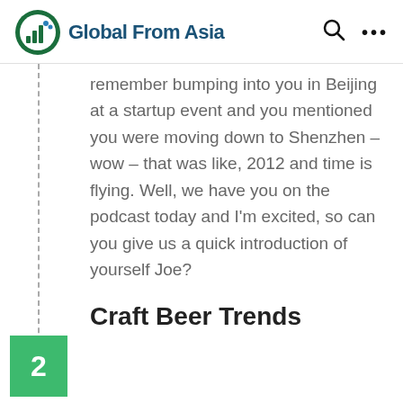Global From Asia
remember bumping into you in Beijing at a startup event and you mentioned you were moving down to Shenzhen – wow – that was like, 2012 and time is flying. Well, we have you on the podcast today and I'm excited, so can you give us a quick introduction of yourself Joe?
2 Craft Beer Trends